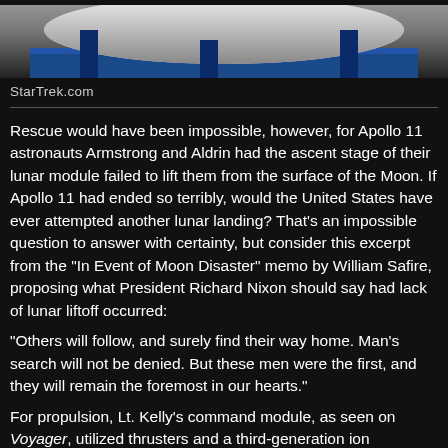[Figure (photo): Top portion of a spacecraft or module component, appearing as a large white/grey rounded object on blue support structures in an industrial facility]
StarTrek.com
Rescue would have been impossible, however, for Apollo 11 astronauts Armstrong and Aldrin had the ascent stage of their lunar module failed to lift them from the surface of the Moon. If Apollo 11 had ended so terribly, would the United States have ever attempted another lunar landing? That's an impossible question to answer with certainty, but consider this excerpt from the "In Event of Moon Disaster" memo by William Safire, proposing what President Richard Nixon should say had lack of lunar liftoff occurred:
“Others will follow, and surely find their way home. Man's search will not be denied. But these men were the first, and they will remain the foremost in our hearts.”
For propulsion, Lt. Kelly's command module, as seen on Voyager, utilized thrusters and a third-generation ion